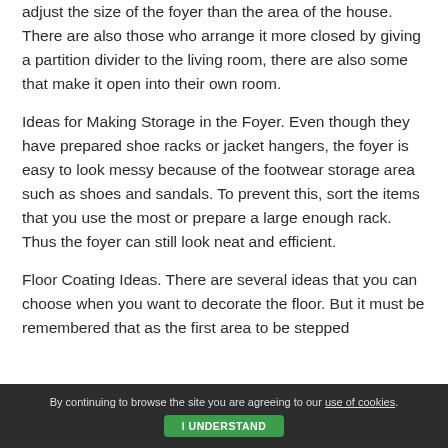adjust the size of the foyer than the area of the house. There are also those who arrange it more closed by giving a partition divider to the living room, there are also some that make it open into their own room.
Ideas for Making Storage in the Foyer. Even though they have prepared shoe racks or jacket hangers, the foyer is easy to look messy because of the footwear storage area such as shoes and sandals. To prevent this, sort the items that you use the most or prepare a large enough rack. Thus the foyer can still look neat and efficient.
Floor Coating Ideas. There are several ideas that you can choose when you want to decorate the floor. But it must be remembered that as the first area to be stepped
By continuing to browse the site you are agreeing to our use of cookies.